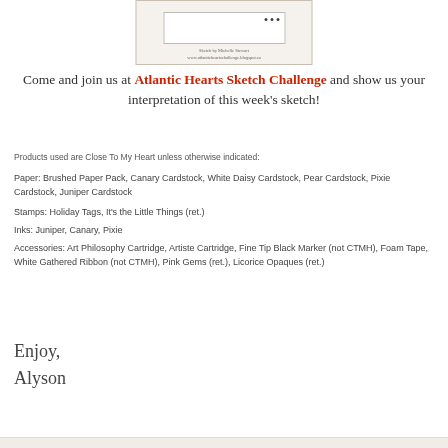[Figure (illustration): A sketch challenge template image showing a card layout sketch with small decorative dots, and text 'Sketch by Michelle Stewart' and 'www.atlanticheartschallenge.blogspot.ca']
Come and join us at Atlantic Hearts Sketch Challenge and show us your interpretation of this week's sketch!
Products used are Close To My Heart unless otherwise indicated:
Paper: Brushed Paper Pack, Canary Cardstock, White Daisy Cardstock, Pear Cardstock, Pixie Cardstock, Juniper Cardstock
Stamps: Holiday Tags, It's the Little Things (ret.)
Inks: Juniper, Canary, Pixie
Accessories: Art Philosophy Cartridge, Artiste Cartridge, Fine Tip Black Marker (not CTMH), Foam Tape, White Gathered Ribbon (not CTMH), Pink Gems (ret.), Licorice Opaques (ret.)
Enjoy,
Alyson